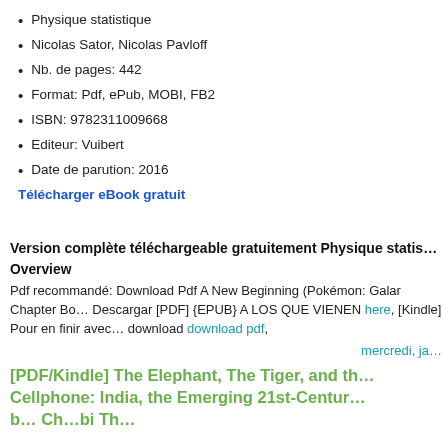Physique statistique
Nicolas Sator, Nicolas Pavloff
Nb. de pages: 442
Format: Pdf, ePub, MOBI, FB2
ISBN: 9782311009668
Editeur: Vuibert
Date de parution: 2016
Télécharger eBook gratuit
Version complète téléchargeable gratuitement Physique statis…
Overview
Pdf recommandé: Download Pdf A New Beginning (Pokémon: Galar Chapter Bo… Descargar [PDF] {EPUB} A LOS QUE VIENEN here, [Kindle] Pour en finir avec… download download pdf,
mercredi, ja…
[PDF/Kindle] The Elephant, The Tiger, and th… Cellphone: India, the Emerging 21st-Centur… b… Ch…bi Th…